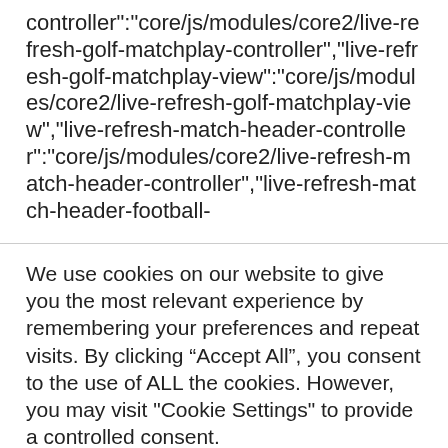controller":"core/js/modules/core2/live-refresh-golf-matchplay-controller","live-refresh-golf-matchplay-view":"core/js/modules/core2/live-refresh-golf-matchplay-view","live-refresh-match-header-controller":"core/js/modules/core2/live-refresh-match-header-controller","live-refresh-match-header-football-
We use cookies on our website to give you the most relevant experience by remembering your preferences and repeat visits. By clicking “Accept All”, you consent to the use of ALL the cookies. However, you may visit "Cookie Settings" to provide a controlled consent.